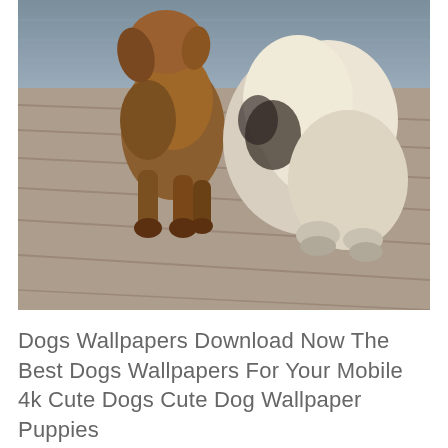[Figure (photo): Two dogs sitting on a wooden dock/boardwalk. One dog is brown/golden on the left, the other is white/cream on the right. Water is visible in the background. The wooden planks of the dock are visible in the foreground.]
Dogs Wallpapers Download Now The Best Dogs Wallpapers For Your Mobile 4k Cute Dogs Cute Dog Wallpaper Puppies